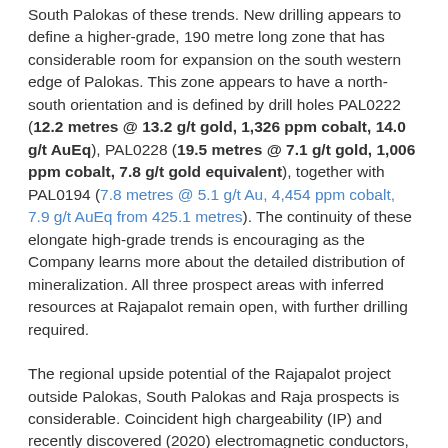South Palokas of these trends. New drilling appears to define a higher-grade, 190 metre long zone that has considerable room for expansion on the south western edge of Palokas. This zone appears to have a north-south orientation and is defined by drill holes PAL0222 (12.2 metres @ 13.2 g/t gold, 1,326 ppm cobalt, 14.0 g/t AuEq), PAL0228 (19.5 metres @ 7.1 g/t gold, 1,006 ppm cobalt, 7.8 g/t gold equivalent), together with PAL0194 (7.8 metres @ 5.1 g/t Au, 4,454 ppm cobalt, 7.9 g/t AuEq from 425.1 metres). The continuity of these elongate high-grade trends is encouraging as the Company learns more about the detailed distribution of mineralization. All three prospect areas with inferred resources at Rajapalot remain open, with further drilling required.
The regional upside potential of the Rajapalot project outside Palokas, South Palokas and Raja prospects is considerable. Coincident high chargeability (IP) and recently discovered (2020) electromagnetic conductors, combined with initial drilling of high-grade gold-cobalt...